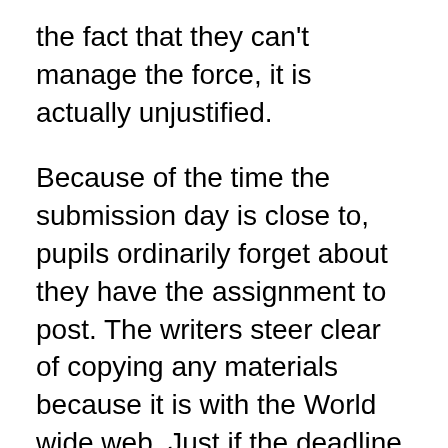the fact that they can't manage the force, it is actually unjustified.
Because of the time the submission day is close to, pupils ordinarily forget about they have the assignment to post. The writers steer clear of copying any materials because it is with the World wide web. Just if the deadline was going to expire, I found Top notch Assignment Service. Our expert services can be found in United states of america, Japan, Germany, Norway, and Saudi Arabia.
All writers will go the additional mile to pull an all-nighter and make sure the paper is sent to the offered deadline. Take pleasure in you guys!' At the same time, we might want to tell that our ocean of writers comprises of experience in each and every